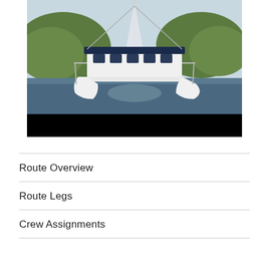[Figure (photo): Front bow view of a white catamaran sailing vessel on calm water with green hills in the background. The boat has twin hulls and a dark navy blue bimini/roof cover. The lower portion of the image has a black bar.]
Route Overview
Route Legs
Crew Assignments